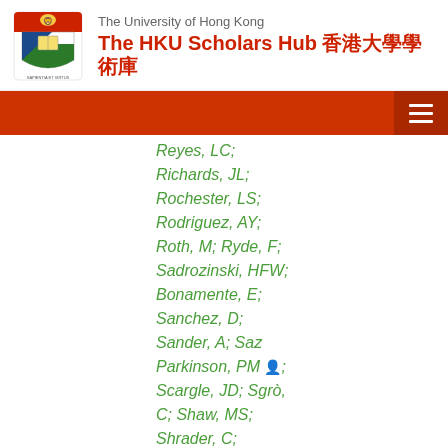The University of Hong Kong — The HKU Scholars Hub 香港大學學術庫
Reyes, LC; Richards, JL; Rochester, LS; Rodriguez, AY; Roth, M; Ryde, F; Sadrozinski, HFW; Bonamente, E; Sanchez, D; Sander, A; Saz Parkinson, PM; Scargle, JD; Sgrò, C; Shaw, MS; Shrader, C; Siskind, EJ; Smith, DA; Smith, PD; Borgland, AW; Spandre, G;